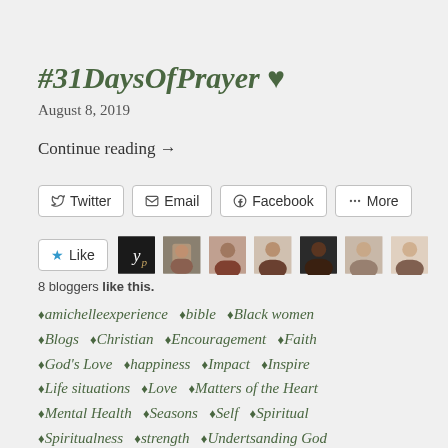#31DaysOfPrayer ♥
August 8, 2019
Continue reading →
[Figure (screenshot): Share buttons: Twitter, Email, Facebook, More]
[Figure (screenshot): Like button and 8 blogger avatars]
8 bloggers like this.
♦amichelleexperience ♦bible ♦Black women ♦Blogs ♦Christian ♦Encouragement ♦Faith ♦God's Love ♦happiness ♦Impact ♦Inspire ♦Life situations ♦Love ♦Matters of the Heart ♦Mental Health ♦Seasons ♦Self ♦Spiritual ♦Spiritualness ♦strength ♦Undertsanding God